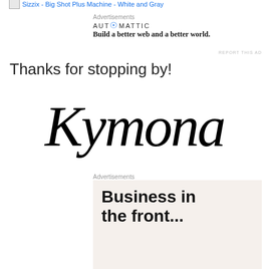[Figure (other): Sizzix - Big Shot Plus Machine - White and Gray product image placeholder]
Advertisements
[Figure (logo): Automattic logo with tagline: Build a better web and a better world.]
REPORT THIS AD
Thanks for stopping by!
[Figure (illustration): Kymona signature in cursive script]
Advertisements
[Figure (other): Advertisement: Business in the front...]